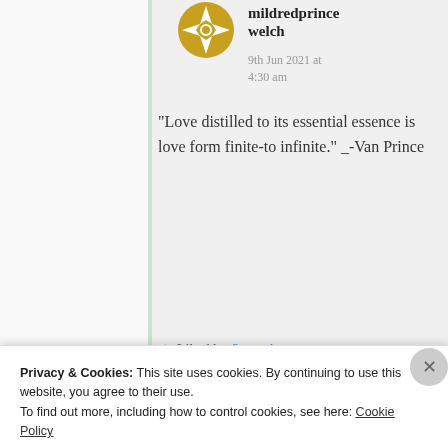mildredprince welch
9th Jun 2021 at 4:30 am
“Love distilled to its essential essence is love form finite-to infinite.” _-Van Prince
★ Liked by 3 people
Privacy & Cookies: This site uses cookies. By continuing to use this website, you agree to their use.
To find out more, including how to control cookies, see here: Cookie Policy
Close and accept